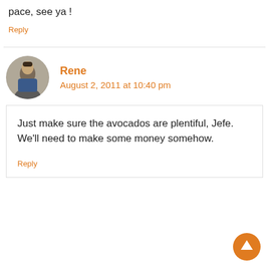pace, see ya !
Reply
Rene
August 2, 2011 at 10:40 pm
Just make sure the avocados are plentiful, Jefe. We'll need to make some money somehow.
Reply